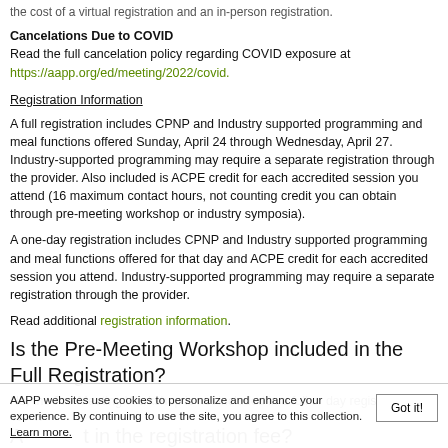the cost of a virtual registration and an in-person registration.
Cancelations Due to COVID
Read the full cancelation policy regarding COVID exposure at https://aapp.org/ed/meeting/2022/covid.
Registration Information
A full registration includes CPNP and Industry supported programming and meal functions offered Sunday, April 24 through Wednesday, April 27. Industry-supported programming may require a separate registration through the provider. Also included is ACPE credit for each accredited session you attend (16 maximum contact hours, not counting credit you can obtain through pre-meeting workshop or industry symposia).
A one-day registration includes CPNP and Industry supported programming and meal functions offered for that day and ACPE credit for each accredited session you attend. Industry-supported programming may require a separate registration through the provider.
Read additional registration information.
Is the Pre-Meeting Workshop included in the Full Registration?
No, the Pre-Meeting Workshop is not included in a full or day registration. The p...
A... in the registration fee?
AAPP websites use cookies to personalize and enhance your experience. By continuing to use the site, you agree to this collection. Learn more.